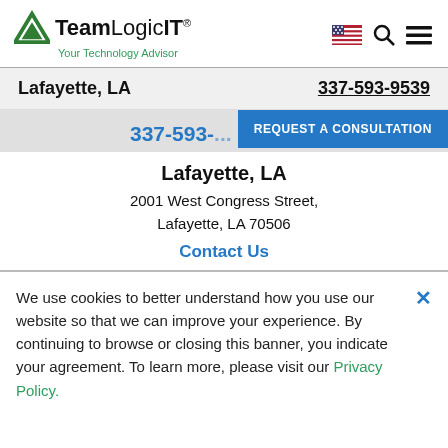[Figure (logo): TeamLogic IT logo with green triangle icon and tagline 'Your Technology Advisor']
Lafayette, LA    337-593-9539
337-593-...
REQUEST A CONSULTATION
Lafayette, LA
2001 West Congress Street,
Lafayette, LA 70506
Contact Us
We use cookies to better understand how you use our website so that we can improve your experience. By continuing to browse or closing this banner, you indicate your agreement. To learn more, please visit our Privacy Policy.